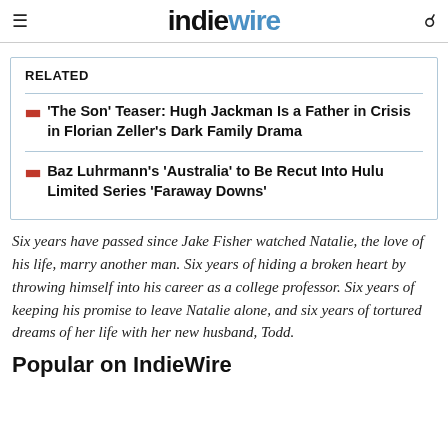IndieWire
RELATED
'The Son' Teaser: Hugh Jackman Is a Father in Crisis in Florian Zeller's Dark Family Drama
Baz Luhrmann's 'Australia' to Be Recut Into Hulu Limited Series 'Faraway Downs'
Six years have passed since Jake Fisher watched Natalie, the love of his life, marry another man. Six years of hiding a broken heart by throwing himself into his career as a college professor. Six years of keeping his promise to leave Natalie alone, and six years of tortured dreams of her life with her new husband, Todd.
Popular on IndieWire